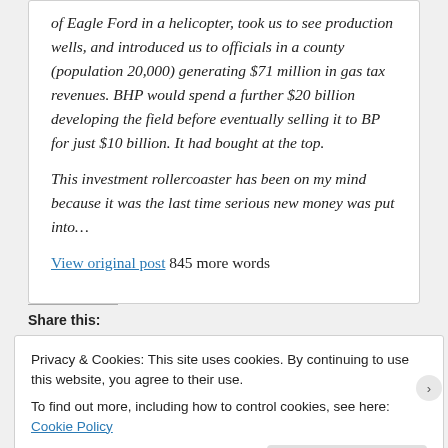of Eagle Ford in a helicopter, took us to see production wells, and introduced us to officials in a county (population 20,000) generating $71 million in gas tax revenues. BHP would spend a further $20 billion developing the field before eventually selling it to BP for just $10 billion. It had bought at the top.
This investment rollercoaster has been on my mind because it was the last time serious new money was put into…
View original post 845 more words
Share this:
Privacy & Cookies: This site uses cookies. By continuing to use this website, you agree to their use. To find out more, including how to control cookies, see here: Cookie Policy